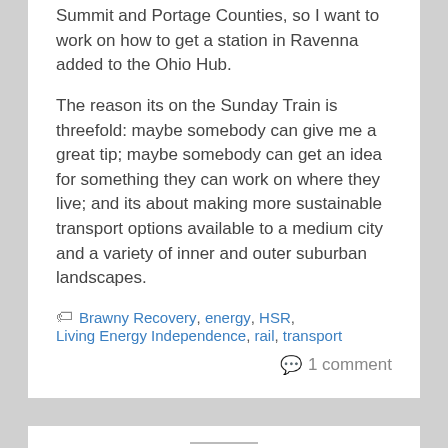Summit and Portage Counties, so I want to work on how to get a station in Ravenna added to the Ohio Hub.
The reason its on the Sunday Train is threefold: maybe somebody can give me a great tip; maybe somebody can get an idea for something they can work on where they live; and its about making more sustainable transport options available to a medium city and a variety of inner and outer suburban landscapes.
Brawny Recovery, energy, HSR, Living Energy Independence, rail, transport
1 comment
Sunday Train: Republican Great Train Robberies
By BruceMcF